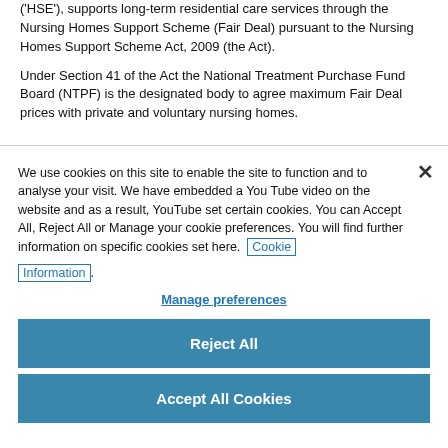('HSE'), supports long-term residential care services through the Nursing Homes Support Scheme (Fair Deal) pursuant to the Nursing Homes Support Scheme Act, 2009 (the Act).
Under Section 41 of the Act the National Treatment Purchase Fund Board (NTPF) is the designated body to agree maximum Fair Deal prices with private and voluntary nursing homes.
We use cookies on this site to enable the site to function and to analyse your visit. We have embedded a You Tube video on the website and as a result, YouTube set certain cookies. You can Accept All, Reject All or Manage your cookie preferences. You will find further information on specific cookies set here. Cookie Information.
Manage preferences
Reject All
Accept All Cookies